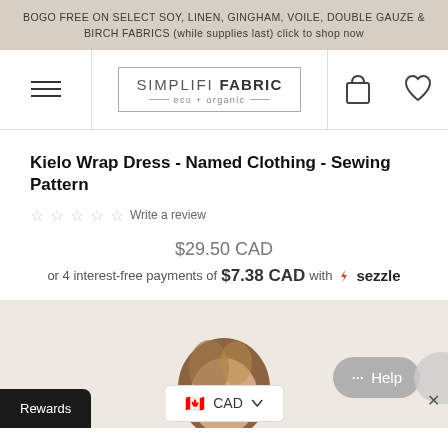BOGO FREE ON SELECT SOY, LINEN, GINGHAM, VOILE, DOUBLE GAUZE & BIRCH FABRICS (while supplies last) click to shop now
[Figure (logo): Simplifi Fabric eco + organic logo with hamburger menu, shopping bag icon and heart icon navigation bar]
Kielo Wrap Dress - Named Clothing - Sewing Pattern
☆☆☆☆☆ Write a review
$29.50 CAD
or 4 interest-free payments of $7.38 CAD with ⬡ sezzle
[Figure (photo): Partial view of a model wearing the Kielo Wrap Dress, showing hair and top of head on beige background, with Help chat button overlay, CAD currency selector, and Rewards button]